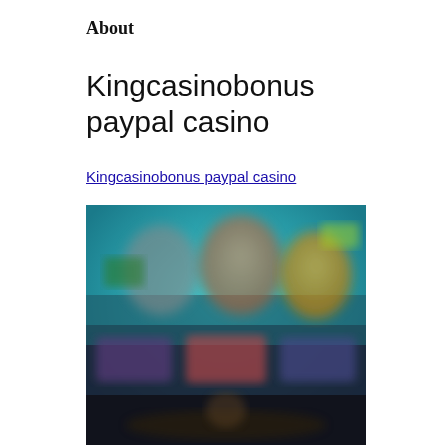About
Kingcasinobonus paypal casino
Kingcasinobonus paypal casino
[Figure (screenshot): Blurred screenshot of a casino website showing colorful game thumbnails and promotional banners with characters, on a dark/teal background.]